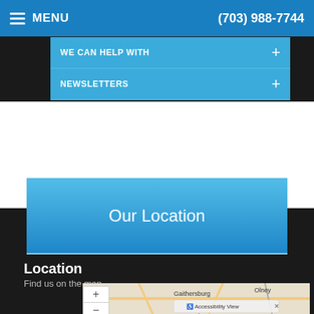MENU  (703) 988-7744
WE CAN HELP WITH +
NEWSLETTERS +
Our Location
Location
Find us on the map
[Figure (map): Google Maps view showing Gaithersburg, Olney, North area with Accessibility View overlay button and zoom controls]